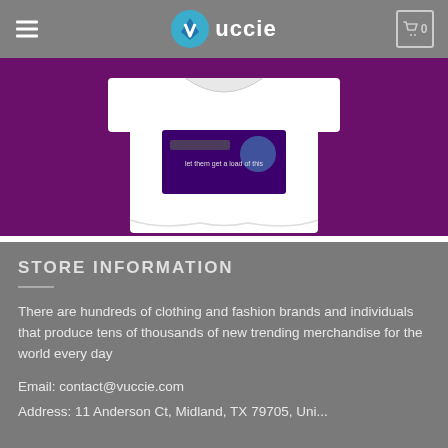Vuccie
[Figure (photo): Product image of a white t-shirt with a purple graphic print, displayed against a purple background]
STORE INFORMATION
There are hundreds of clothing and fashion brands and individuals that produce tens of thousands of new trending merchandise for the world every day
Email: contact@vuccie.com
Address: 11 Anderson Ct, Midland, TX 79705, United States